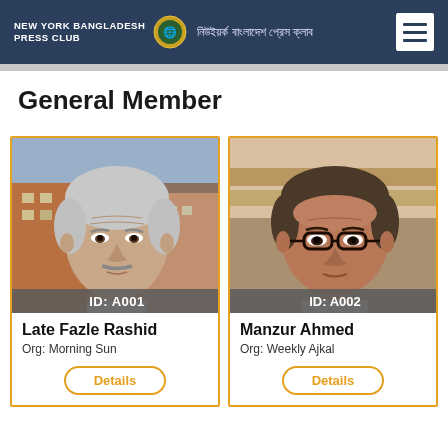NEW YORK BANGLADESH PRESS CLUB | নিউইয়র্ক বাংলাদেশ প্রেস ক্লাব
General Member
[Figure (photo): Portrait photo of Late Fazle Rashid with ID: A001 badge]
Late Fazle Rashid
Org: Morning Sun
Details
[Figure (photo): Portrait photo of Manzur Ahmed with ID: A002 badge]
Manzur Ahmed
Org: Weekly Ajkal
Details